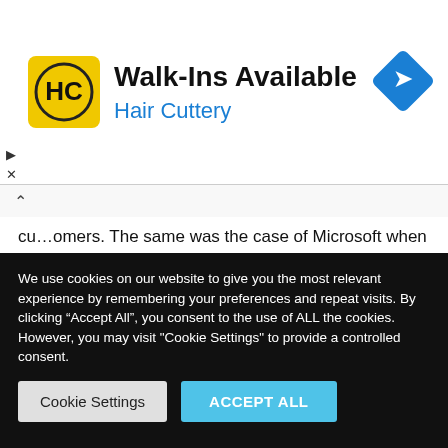[Figure (other): Advertisement banner for Hair Cuttery with logo, 'Walk-Ins Available' headline, blue 'Hair Cuttery' subtext, and a blue navigation/turn diamond icon on the right.]
customers. The same was the case of Microsoft when it spread the word of its accounting software.
Limitations of International Marketing Strategies
We use cookies on our website to give you the most relevant experience by remembering your preferences and repeat visits. By clicking "Accept All", you consent to the use of ALL the cookies. However, you may visit "Cookie Settings" to provide a controlled consent.